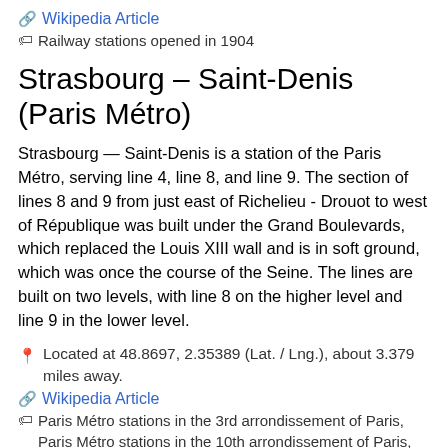🔗 Wikipedia Article
🏷 Railway stations opened in 1904
Strasbourg – Saint-Denis (Paris Métro)
Strasbourg — Saint-Denis is a station of the Paris Métro, serving line 4, line 8, and line 9. The section of lines 8 and 9 from just east of Richelieu - Drouot to west of République was built under the Grand Boulevards, which replaced the Louis XIII wall and is in soft ground, which was once the course of the Seine. The lines are built on two levels, with line 8 on the higher level and line 9 in the lower level.
📍 Located at 48.8697, 2.35389 (Lat. / Lng.), about 3.379 miles away.
🔗 Wikipedia Article
🏷 Paris Métro stations in the 3rd arrondissement of Paris, Paris Métro stations in the 10th arrondissement of Paris, Railway stations opened in 1908